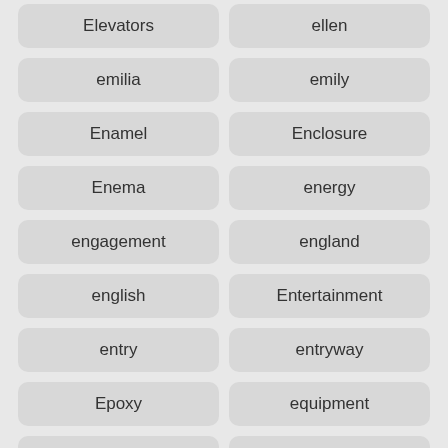Elevators
ellen
emilia
emily
Enamel
Enclosure
Enema
energy
engagement
england
english
Entertainment
entry
entryway
Epoxy
equipment
erin
Escape
essential
estate